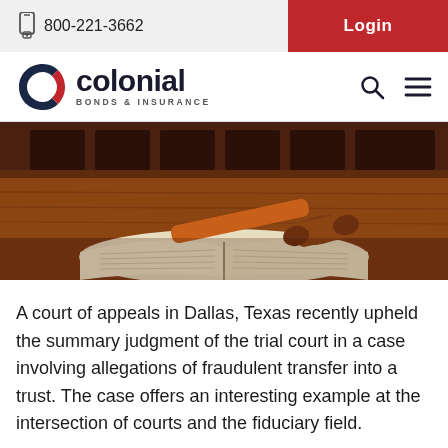800-221-3662  Login
[Figure (logo): Colonial Bonds & Insurance logo with stylized C icon]
[Figure (photo): A judge's gavel resting on an open book in a courtroom setting]
A court of appeals in Dallas, Texas recently upheld the summary judgment of the trial court in a case involving allegations of fraudulent transfer into a trust. The case offers an interesting example at the intersection of courts and the fiduciary field.